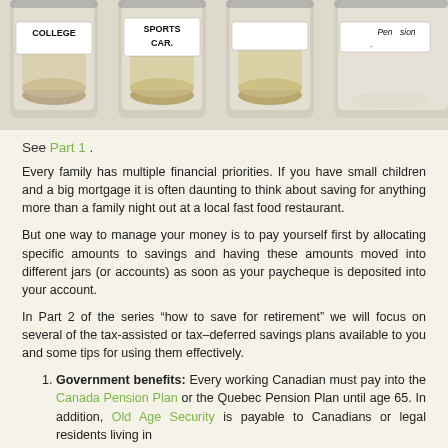[Figure (photo): Four glass mason jars with labels: COLLEGE, SPORTS CAR, (blank label), PENSION. Jars contain coins and banknotes, photographed from above against a white background.]
See Part 1 .
Every family has multiple financial priorities. If you have small children and a big mortgage it is often daunting to think about saving for anything more than a family night out at a local fast food restaurant.
But one way to manage your money is to pay yourself first by allocating specific amounts to savings and having these amounts moved into different jars (or accounts) as soon as your paycheque is deposited into your account.
In Part 2 of the series “how to save for retirement” we will focus on several of the tax-assisted or tax–deferred savings plans available to you and some tips for using them effectively.
Government benefits: Every working Canadian must pay into the Canada Pension Plan or the Quebec Pension Plan until age 65. In addition, Old Age Security is payable to Canadians or legal residents living in Canada, but is subject to a clawback at age 65.